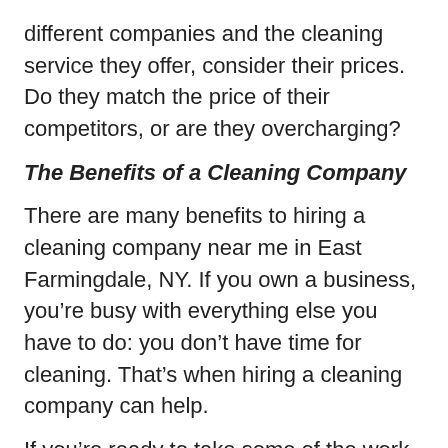different companies and the cleaning service they offer, consider their prices. Do they match the price of their competitors, or are they overcharging?
The Benefits of a Cleaning Company
There are many benefits to hiring a cleaning company near me in East Farmingdale, NY. If you own a business, you’re busy with everything else you have to do: you don’t have time for cleaning. That’s when hiring a cleaning company can help.
If you’re ready to take some of the work off your shoulders, call Thunderbird Maintenance Corp at 631-319-1464 today. We’ll ensure that you’re happy with your office space every time we leave.